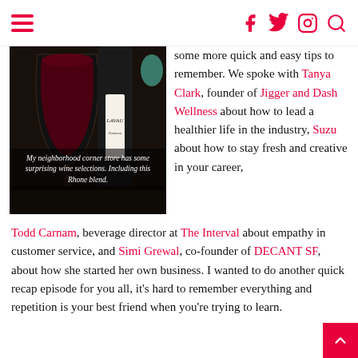Navigation bar with hamburger menu and social icons (Facebook, Twitter, Instagram, Search)
[Figure (photo): A glass of red wine beside a wine bottle labeled LAVAU on a dark table]
My neighborhood corner store has some surprising wine selections. Including this Rhone blend.
some more quick and easy tips to remember. We spoke with Tanya Clark, founder of Jigger and Dash Wellness about how to lead a healthier life in the industry, Suzu about how to stay fresh and creative in your career, Todd Carnam, beverage director at The Interval about empathy in customer service, and Simi Grewal, co-founder of DECANT SF, about how she started her own business. I wanted to do another quick recap episode for you all, it's hard to remember everything and repetition is your best friend when you're trying to learn.